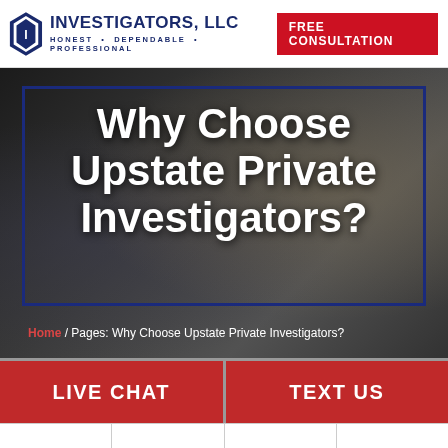INVESTIGATORS, LLC — HONEST • DEPENDABLE • PROFESSIONAL | FREE CONSULTATION
Why Choose Upstate Private Investigators?
Home / Pages: Why Choose Upstate Private Investigators?
LIVE CHAT
TEXT US